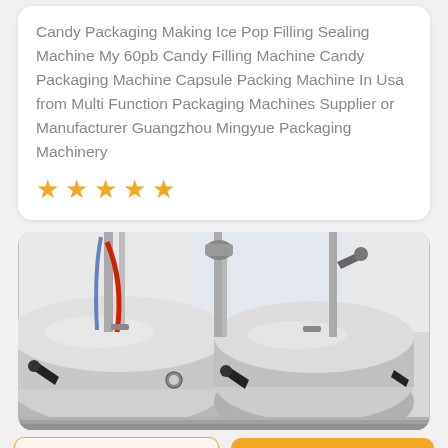Candy Packaging Making Ice Pop Filling Sealing Machine My 60pb Candy Filling Machine Candy Packaging Machine Capsule Packing Machine In Usa from Multi Function Packaging Machines Supplier or Manufacturer Guangzhou Mingyue Packaging Machinery
[Figure (other): Five orange star rating icons indicating a 5-star rating]
[Figure (photo): Close-up photograph of stainless steel industrial packaging/filling machine components with black handles and red tubing]
Get a Quote
WhatsApp